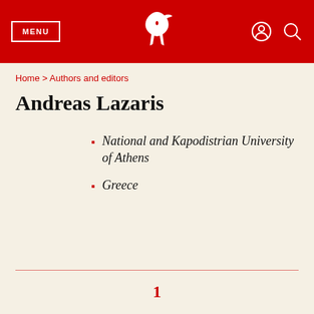MENU | [logo] | [user icon] [search icon]
Home > Authors and editors
Andreas Lazaris
National and Kapodistrian University of Athens
Greece
1